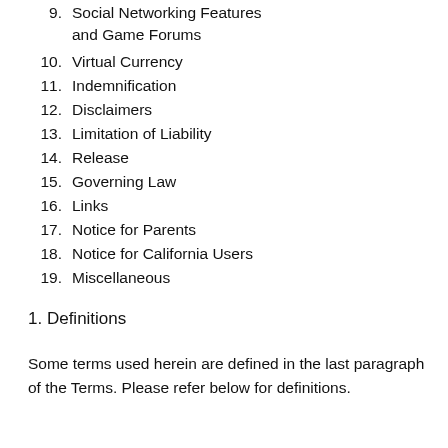9. Social Networking Features and Game Forums
10. Virtual Currency
11. Indemnification
12. Disclaimers
13. Limitation of Liability
14. Release
15. Governing Law
16. Links
17. Notice for Parents
18. Notice for California Users
19. Miscellaneous
1. Definitions
Some terms used herein are defined in the last paragraph of the Terms. Please refer below for definitions.